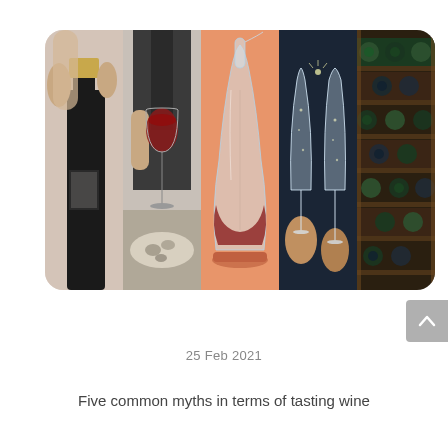[Figure (photo): A collage of five wine-related photos side by side: (1) a hand holding a wine bottle cap/foil being removed from a dark wine bottle, (2) a waiter or sommelier holding a glass of red wine above a plate of oysters, (3) a glass wine decanter with red wine at the bottom on an orange surface, (4) two champagne flutes being clinked together by people, (5) a wine rack with many bottles stored horizontally in rows.]
25 Feb 2021
Five common myths in terms of tasting wine